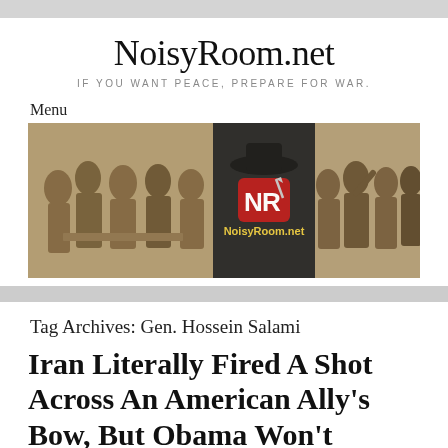NoisyRoom.net
IF YOU WANT PEACE, PREPARE FOR WAR.
Menu
[Figure (illustration): Banner image showing historical painting of founding fathers on left and right, with NoisyRoom.net logo in center featuring a man in hat with letters NR and site name below]
Tag Archives: Gen. Hossein Salami
Iran Literally Fired A Shot Across An American Ally's Bow, But Obama Won't Dump His Disastrous Deal